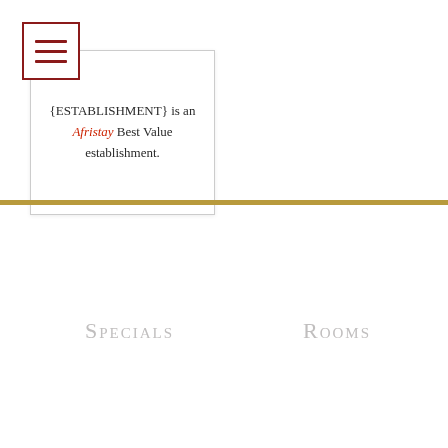[Figure (illustration): Hamburger menu icon: a square with dark red border containing three horizontal dark red bars]
{ESTABLISHMENT} is an Afristay Best Value establishment.
Specials
Rooms